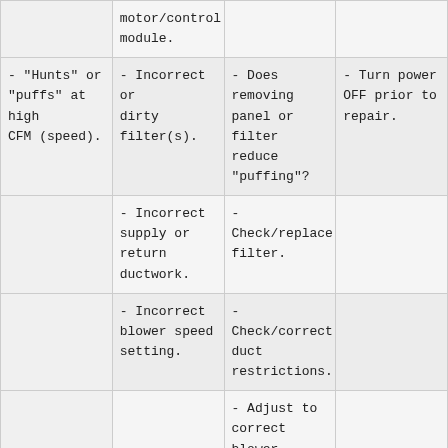|  | motor/control module. |  |  |
| - "Hunts" or "puffs" at high CFM (speed). | - Incorrect or dirty filter(s). | - Does removing panel or filter reduce "puffing"? | - Turn power OFF prior to repair. |
|  | - Incorrect supply or return ductwork. | - Check/replace filter. |  |
|  | - Incorrect blower speed setting. | - Check/correct duct restrictions. |  |
|  |  | - Adjust to correct blower... |  |